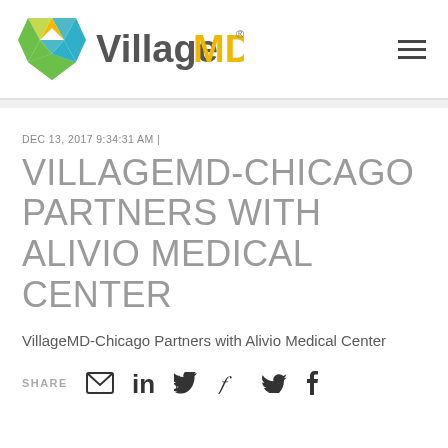[Figure (logo): VillageMD logo with colorful leaf/diamond icon and text 'VillageMD' with registered trademark symbol]
DEC 13, 2017 9:34:31 AM |
VILLAGEMD-CHICAGO PARTNERS WITH ALIVIO MEDICAL CENTER
VillageMD-Chicago Partners with Alivio Medical Center
SHARE